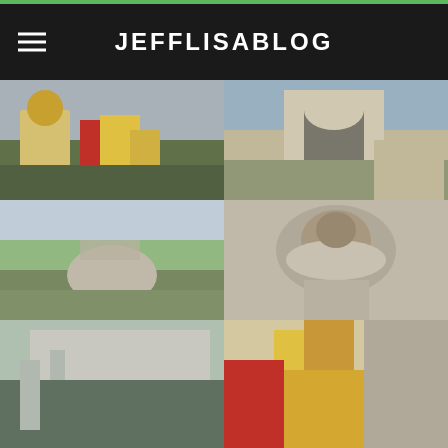JEFFLISABLOG
[Figure (photo): Colorful Pena Palace with yellow, red and gold towers against overcast sky]
[Figure (photo): Stone archway gateway of Pena Palace with tourists walking through]
[Figure (photo): Aerial landscape view showing rocky hilltop with Moorish ruins and town below]
[Figure (photo): Close-up of ornate stone sculpture/gargoyle figure on Pena Palace exterior]
[Figure (photo): Pena Palace exterior wall with crenellations and trees in foreground]
[Figure (photo): Yellow and red decorated Pena Palace towers with striped flags]